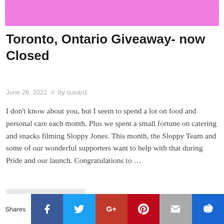[Figure (other): Pink banner image at top of article]
Toronto, Ontario Giveaway- now Closed
June 26, 2022  //  by susan1
I don't know about you, but I seem to spend a lot on food and personal care each month. Plus we spent a small fortune on catering and snacks filming Sloppy Jones. This month, the Sloppy Team and some of our wonderful supporters want to help with that during Pride and our launch. Congratulations to …
Read More
Shares